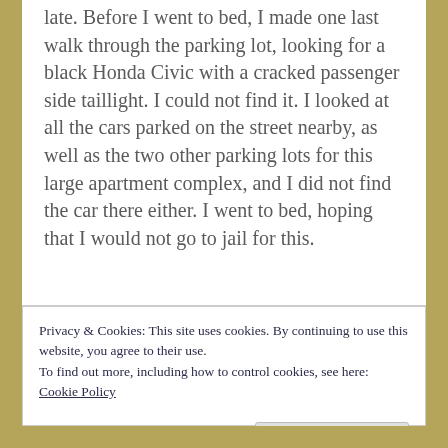late.  Before I went to bed, I made one last walk through the parking lot, looking for a black Honda Civic with a cracked passenger side taillight.  I could not find it.  I looked at all the cars parked on the street nearby, as well as the two other parking lots for this large apartment complex, and I did not find the car there either.  I went to bed, hoping that I would not go to jail for this.
Privacy & Cookies: This site uses cookies. By continuing to use this website, you agree to their use.
To find out more, including how to control cookies, see here: Cookie Policy
Close and accept